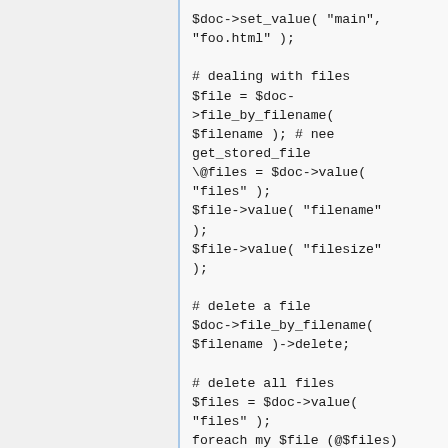$doc->set_value( "main", "foo.html" );

# dealing with files
$file = $doc->file_by_filename( $filename ); # nee get_stored_file
\@files = $doc->value( "files" );
$file->value( "filename" );
$file->value( "filesize" );

# delete a file
$doc->file_by_filename( $filename )->delete;

# delete all files
$files = $doc->value( "files" );
foreach my $file (@$files)
{ $file->delete; }